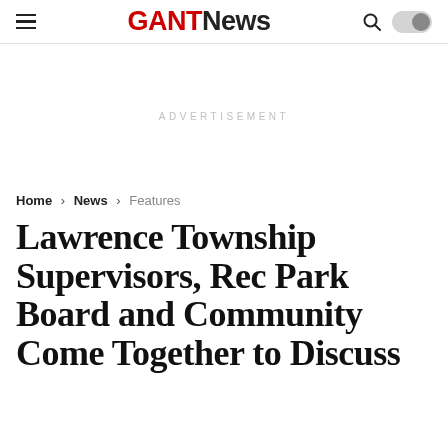GANT News
ADVERTISEMENT
Home > News > Features
Lawrence Township Supervisors, Rec Park Board and Community Come Together to Discuss